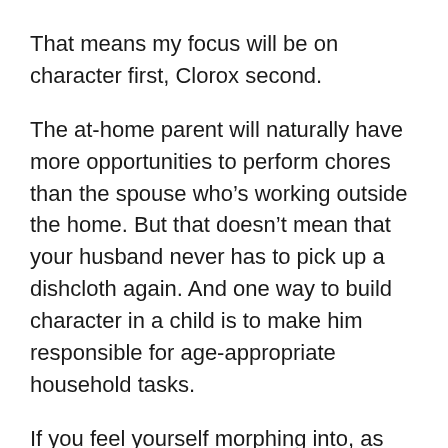That means my focus will be on character first, Clorox second.
The at-home parent will naturally have more opportunities to perform chores than the spouse who’s working outside the home. But that doesn’t mean that your husband never has to pick up a dishcloth again. And one way to build character in a child is to make him responsible for age-appropriate household tasks.
If you feel yourself morphing into, as Ann-Marie puts it, “a stereotypical shrew of a wife, yelling…